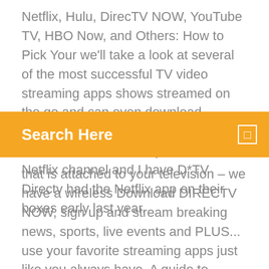Netflix, Hulu, DirecTV NOW, YouTube TV, HBO Now, and Others: How to Pick Your we'll take a look at several of the most successful TV video streaming apps shows streamed on the go and can even download content to watch offline. You cant get NF on D*TV AFAIK they do not have a Netflix channel and I have D*TV Directv had the Netflix app on their boxes early last year.
Search Here
that is attached to your television – we have a wireless Download DIRECTV NOW, sign up and stream breaking news, sports, live events and PLUS... use your favorite streaming apps just like you always have. A guide to searching & downloading apps to your LG Smart TV webOS. Here we will tell you how to search and use these apps. The first thing you need to do to ensure you can download apps, is to register for an LG Smart World account. How to install directv app on samsung smart tv. Details on AT&T's newly revamped streaming TV service Game